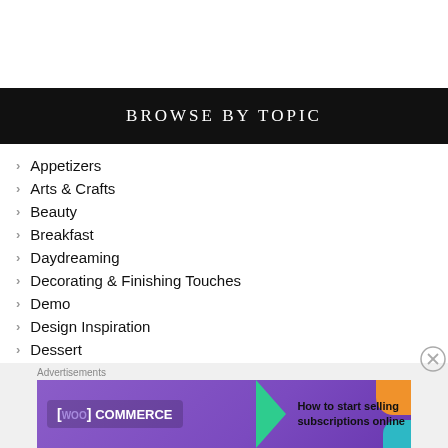BROWSE BY TOPIC
Appetizers
Arts & Crafts
Beauty
Breakfast
Daydreaming
Decorating & Finishing Touches
Demo
Design Inspiration
Dessert
Eco-Friendly
[Figure (screenshot): WooCommerce advertisement banner: 'How to start selling subscriptions online']